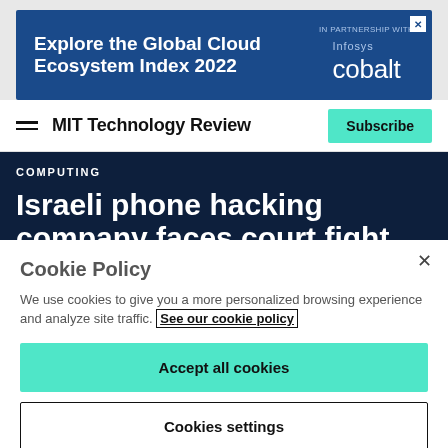[Figure (infographic): Advertisement banner: 'Explore the Global Cloud Ecosystem Index 2022' in partnership with Infosys Cobalt, with a close button]
MIT Technology Review | Subscribe
COMPUTING
Israeli phone hacking company faces court fight over sales to Hong Kong
Cookie Policy
We use cookies to give you a more personalized browsing experience and analyze site traffic. See our cookie policy
Accept all cookies
Cookies settings